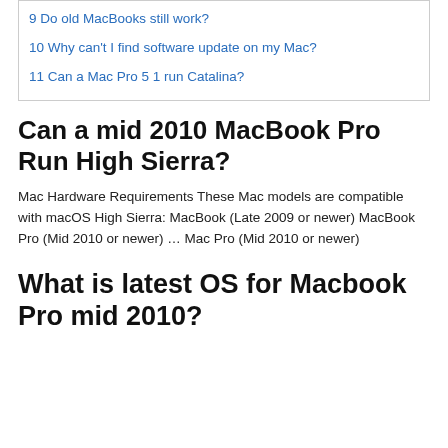9 Do old MacBooks still work?
10 Why can't I find software update on my Mac?
11 Can a Mac Pro 5 1 run Catalina?
Can a mid 2010 MacBook Pro Run High Sierra?
Mac Hardware Requirements These Mac models are compatible with macOS High Sierra: MacBook (Late 2009 or newer) MacBook Pro (Mid 2010 or newer) … Mac Pro (Mid 2010 or newer)
What is latest OS for Macbook Pro mid 2010?